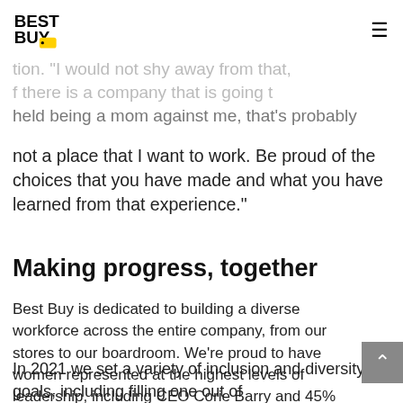Best Buy logo and navigation menu
audience during a 30-minute moderated discussion. "I would not shy away from that, but if there is a company that is going to hold being a mom against me, that's probably not a place that I want to work. Be proud of the choices that you have made and what you have learned from that experience."
Making progress, together
Best Buy is dedicated to building a diverse workforce across the entire company, from our stores to our boardroom. We're proud to have women represented at the highest levels of leadership, including CEO Corie Barry and 45% of our board of directors.
In 2021 we set a variety of inclusion and diversity goals, including filling one out of three open entry-level leadership positions